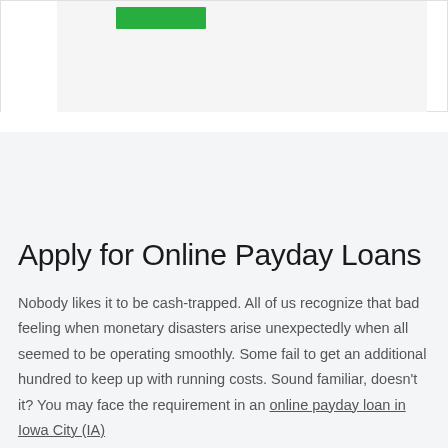[Figure (screenshot): Top portion of a web page showing a white left sidebar and gray content area with a green button/element visible near the top]
Apply for Online Payday Loans
Nobody likes it to be cash-trapped. All of us recognize that bad feeling when monetary disasters arise unexpectedly when all seemed to be operating smoothly. Some fail to get an additional hundred to keep up with running costs. Sound familiar, doesn't it? You may face the requirement in an online payday loan in Iowa City (IA)